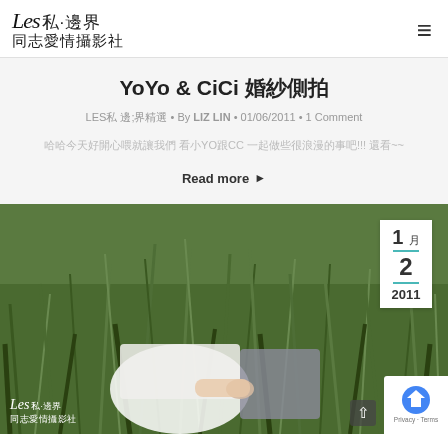Les 私·邊界 同志愛情攝影社
YoYo & CiCi 婚紗側拍
LES私邊界精選 • By LIZ LIN • 01/06/2011 • 1 Comment
哈哈今天好開心喔就讓我們 看小YO跟CC 一起做些很浪漫的事吧!!! 邊看~~
Read more ▶
[Figure (photo): Couple in wedding attire sitting in tall green grass field. Woman in white dress, man in grey suit. Date badge showing 1月 2 2011. Les私邊界同志愛情攝影社 logo in bottom left of photo.]